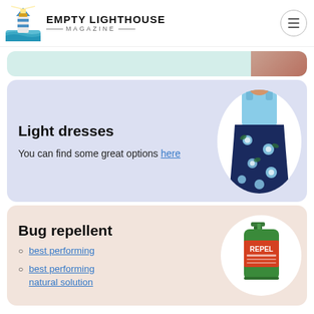EMPTY LIGHTHOUSE MAGAZINE
[Figure (photo): Partial cropped photo of person in swimsuit on teal/mint background]
Light dresses
You can find some great options here
[Figure (photo): Woman wearing blue and floral maxi dress]
Bug repellent
best performing
best performing natural solution
[Figure (photo): Repel brand bug repellent spray bottle]